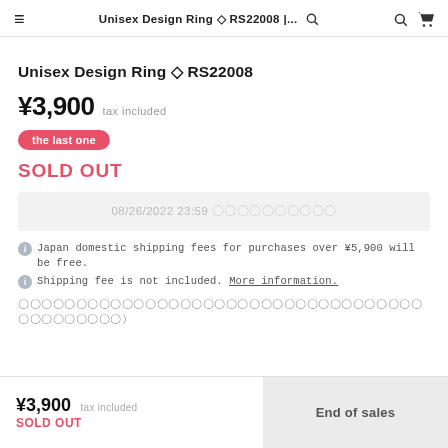Unisex Design Ring ◇ RS22008 |...
Unisex Design Ring ◇ RS22008
¥3,900  tax included
the last one
SOLD OUT
08/26/2022 23:59 〇〇〇〇〇〇〇〇〇〇
Japan domestic shipping fees for purchases over ¥5,900 will be free.
Shipping fee is not included. More information.
〇〇〇〇〇〇〇〇〇〇〇〇〇〇〇〇〇〇〇〇〇〇〇〇〇〇〇〇〇〇〇〇〇〇〇〇〇〇〇〇〇〇〇〇〉
¥3,900 tax included SOLD OUT  End of sales